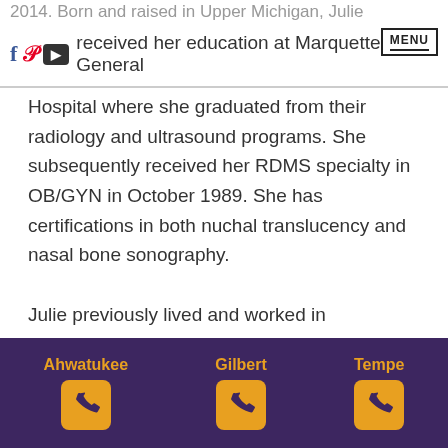2014. Born and raised in Upper Michigan, Julie received her education at Marquette General
Hospital where she graduated from their radiology and ultrasound programs. She subsequently received her RDMS specialty in OB/GYN in October 1989. She has certifications in both nuchal translucency and nasal bone sonography.
Julie previously lived and worked in Minneapolis (9 years) performing obstetrical and gynecological ultrasounds. She moved to
Ahwatukee   Gilbert   Tempe